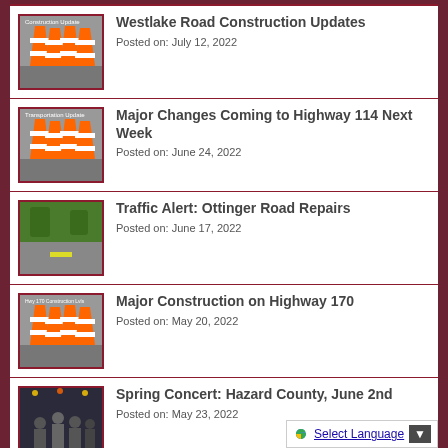Westlake Road Construction Updates
Posted on: July 12, 2022
Major Changes Coming to Highway 114 Next Week
Posted on: June 24, 2022
Traffic Alert: Ottinger Road Repairs
Posted on: June 17, 2022
Major Construction on Highway 170
Posted on: May 20, 2022
Spring Concert: Hazard County, June 2nd
Posted on: May 23, 2022
Live Stream of Wes...
Select Language